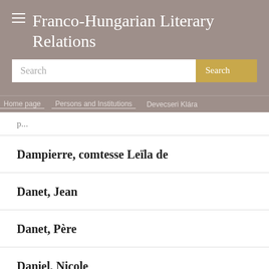Franco-Hungarian Literary Relations
Search
Home page / Persons and Institutions / Devecseri Klára
Dampierre, comtesse Leïla de
Danet, Jean
Danet, Père
Daniel, Nicole